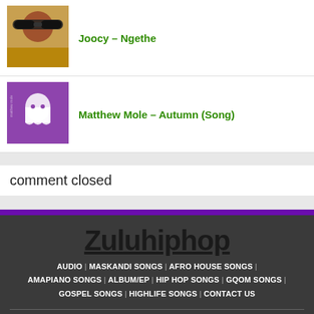[Figure (photo): Thumbnail of artist with sunglasses, warm tones]
Joocy – Ngethe
[Figure (photo): Purple album cover with ghost illustration for Matthew Mole Autumn Song]
Matthew Mole – Autumn (Song)
comment closed
[Figure (logo): Zuluhiphop footer logo in bold black underlined text on dark background]
AUDIO | MASKANDI SONGS | AFRO HOUSE SONGS | AMAPIANO SONGS | ALBUM/EP | HIP HOP SONGS | GQOM SONGS | GOSPEL SONGS | HIGHLIFE SONGS | CONTACT US
© ZuluHipHop.Com, Fakaza 2022 Music, News, Gqom, Afro House, Amapiano, Zamusic, hiphopza music, ubetoo, Fakaza, flexyjam, Hiphopmore.